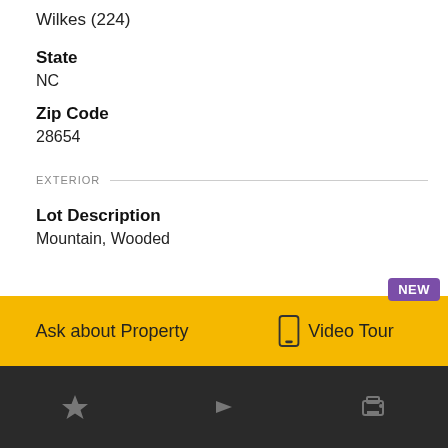Wilkes (224)
State
NC
Zip Code
28654
EXTERIOR
Lot Description
Mountain, Wooded
NEW
Ask about Property
Video Tour
★ ➤ 🖨